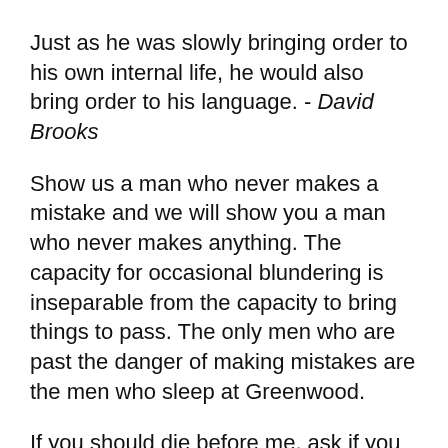Just as he was slowly bringing order to his own internal life, he would also bring order to his language. - David Brooks
Show us a man who never makes a mistake and we will show you a man who never makes anything. The capacity for occasional blundering is inseparable from the capacity to bring things to pass. The only men who are past the danger of making mistakes are the men who sleep at Greenwood.
If you should die before me, ask if you could bring a friend.
To be continued...